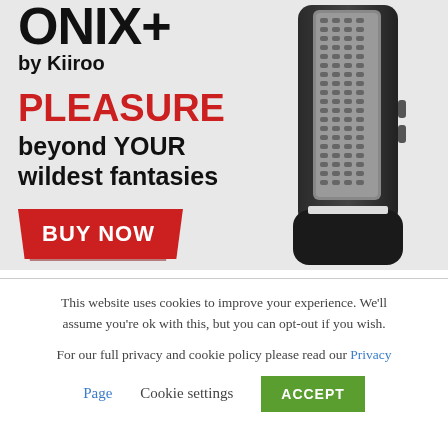[Figure (photo): Advertisement for ONYX+ by Kiiroo adult device. Gray background with product image on right (tall black device open showing textured interior). Left side shows text: ONYX+ (large bold heading, partially cropped at top), by Kiiroo, PLEASURE (red bold), beyond YOUR wildest fantasies, and a red BUY NOW button.]
This website uses cookies to improve your experience. We'll assume you're ok with this, but you can opt-out if you wish.
For our full privacy and cookie policy please read our Privacy Page   Cookie settings   ACCEPT